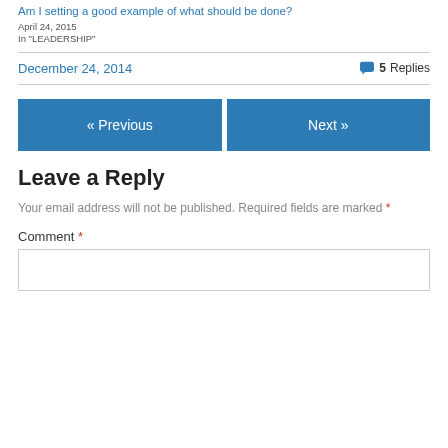Am I setting a good example of what should be done?
April 24, 2015
In "LEADERSHIP"
December 24, 2014
5 Replies
« Previous
Next »
Leave a Reply
Your email address will not be published. Required fields are marked *
Comment *